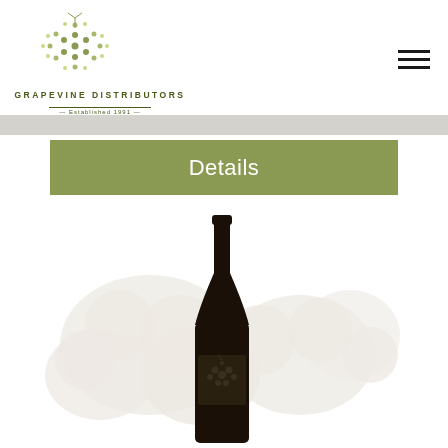GRAPEVINE DISTRIBUTORS — Established 1991
Details
[Figure (illustration): Silhouette of a wine bottle with decorative grape cluster background watermark]